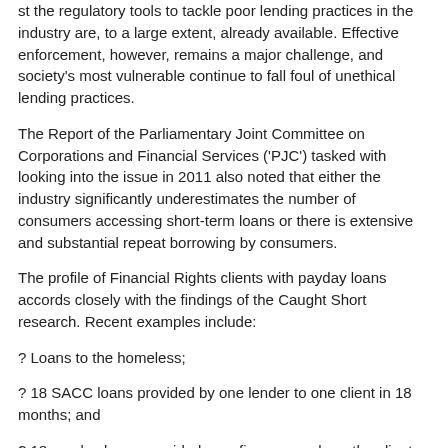st the regulatory tools to tackle poor lending practices in the industry are, to a large extent, already available. Effective enforcement, however, remains a major challenge, and society's most vulnerable continue to fall foul of unethical lending practices.
The Report of the Parliamentary Joint Committee on Corporations and Financial Services ('PJC') tasked with looking into the issue in 2011 also noted that either the industry significantly underestimates the number of consumers accessing short-term loans or there is extensive and substantial repeat borrowing by consumers.
The profile of Financial Rights clients with payday loans accords closely with the findings of the Caught Short research. Recent examples include:
? Loans to the homeless;
? 18 SACC loans provided by one lender to one client in 18 months; and
? 18 payday loans provided over five years where the client receive